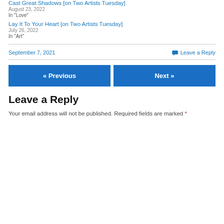Cast Great Shadows [on Two Artists Tuesday]
August 23, 2022
In "Love"
Lay It To Your Heart [on Two Artists Tuesday]
July 26, 2022
In "Art"
September 7, 2021
Leave a Reply
« Previous
Next »
Leave a Reply
Your email address will not be published. Required fields are marked *